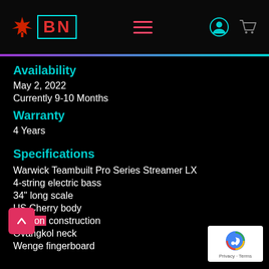BN - Canadian music store header with logo, hamburger menu, user icon, cart icon
Availability
May 2, 2022
Currently 9-10 Months
Warranty
4 Years
Specifications
Warwick Teambuilt Pro Series Streamer LX
4-string electric bass
34" long scale
US Cherry body
Bolt-on construction
Ovangkol neck
Wenge fingerboard